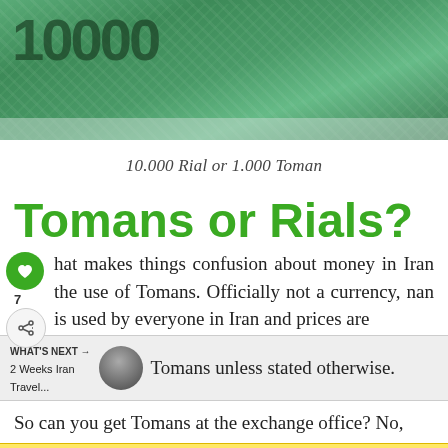[Figure (photo): Close-up photograph of a 10000 Iranian Rial banknote with green decorative pattern]
10.000 Rial or 1.000 Toman
Tomans or Rials?
What makes things confusion about money in Iran the use of Tomans. Officially not a currency, Toman is used by everyone in Iran and prices are Tomans unless stated otherwise.
So can you get Tomans at the exchange office? No,